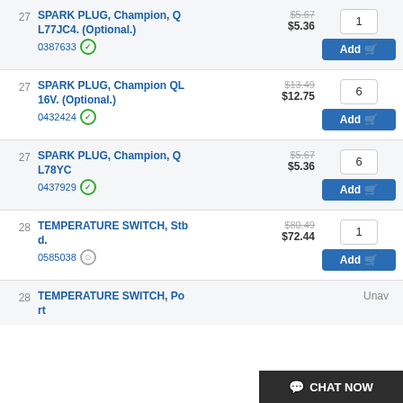27 SPARK PLUG, Champion, QL77JC4. (Optional.) 0387633 $5.67 $5.36 qty:1 Add
27 SPARK PLUG, Champion QL16V. (Optional.) 0432424 $13.49 $12.75 qty:6 Add
27 SPARK PLUG, Champion, QL78YC 0437929 $5.67 $5.36 qty:6 Add
28 TEMPERATURE SWITCH, Stbd. 0585038 $80.49 $72.44 qty:1 Add
28 TEMPERATURE SWITCH, Port Unavailable